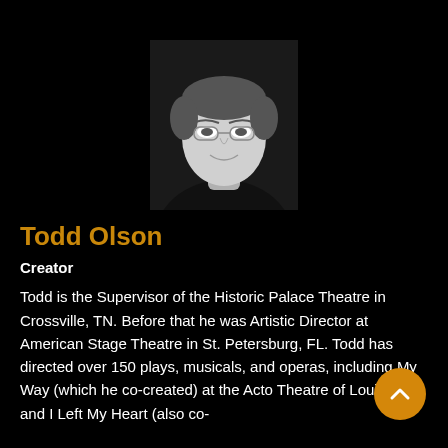[Figure (photo): Black and white headshot photo of Todd Olson, a man with glasses and short hair, smiling slightly, wearing a dark top.]
Todd Olson
Creator
Todd is the Supervisor of the Historic Palace Theatre in Crossville, TN. Before that he was Artistic Director at American Stage Theatre in St. Petersburg, FL. Todd has directed over 150 plays, musicals, and operas, including My Way (which he co-created) at the Actors Theatre of Louisville, and I Left My Heart (also co-